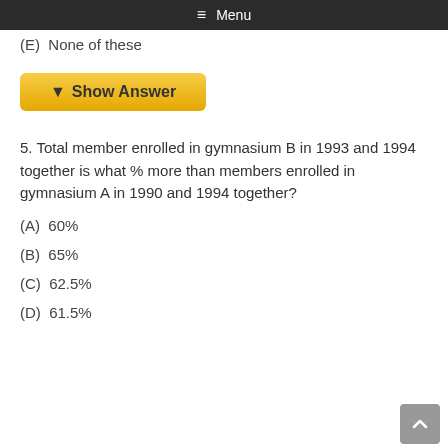≡ Menu
(E)  None of these
▼ Show Answer
5. Total member enrolled in gymnasium B in 1993 and 1994 together is what % more than members enrolled in gymnasium A in 1990 and 1994 together?
(A)  60%
(B)  65%
(C)  62.5%
(D)  61.5%